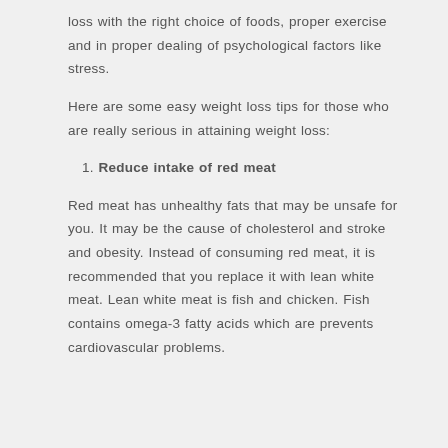loss with the right choice of foods, proper exercise and in proper dealing of psychological factors like stress.
Here are some easy weight loss tips for those who are really serious in attaining weight loss:
1. Reduce intake of red meat
Red meat has unhealthy fats that may be unsafe for you. It may be the cause of cholesterol and stroke and obesity. Instead of consuming red meat, it is recommended that you replace it with lean white meat. Lean white meat is fish and chicken. Fish contains omega-3 fatty acids which are prevents cardiovascular problems.